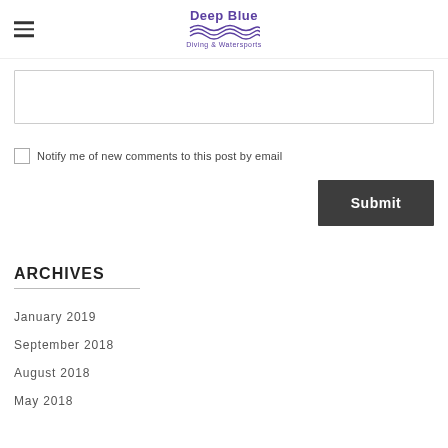Deep Blue Diving & Watersports
[text input box]
Notify me of new comments to this post by email
Submit
ARCHIVES
January 2019
September 2018
August 2018
May 2018